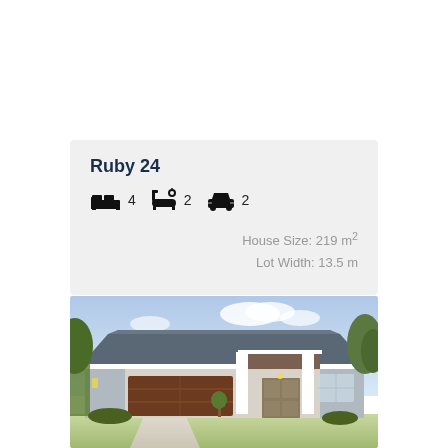Ruby 24
4 bedrooms, 2 bathrooms, 2 car garage. House Size: 219 m², Lot Width: 13.5 m
[Figure (photo): Rendered exterior photo of the Ruby 24 single-storey house design. Modern facade with dark tiled roof, brown timber-look garage door, white rendered columns, brick cladding, and landscaped front garden.]